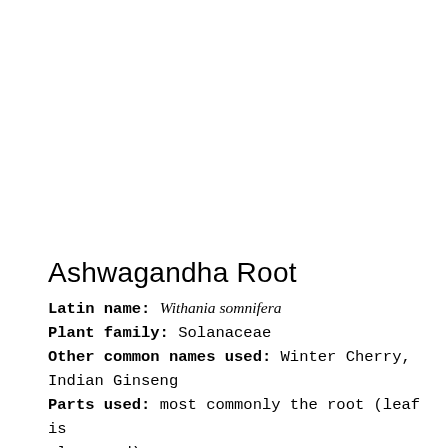Ashwagandha Root
Latin name: Withania somnifera
Plant family: Solanaceae
Other common names used: Winter Cherry, Indian Ginseng
Parts used: most commonly the root (leaf is also used)
Primary constituents: Alkaloids (anaferine,